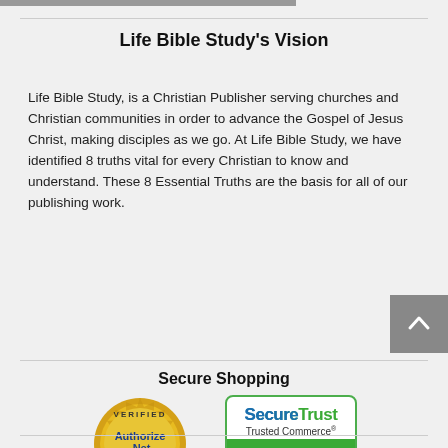Life Bible Study's Vision
Life Bible Study, is a Christian Publisher serving churches and Christian communities in order to advance the Gospel of Jesus Christ, making disciples as we go. At Life Bible Study, we have identified 8 truths vital for every Christian to know and understand. These 8 Essential Truths are the basis for all of our publishing work.
Secure Shopping
[Figure (logo): Authorize.Net Verified Merchant badge — gold/yellow circular seal with 'VERIFIED' at top, 'Authorize.Net' in blue text center, 'Click' with arrow, 'MERCHANT' at bottom. Below: 'Merchant Services' text.]
[Figure (logo): SecureTrust Trusted Commerce badge — rounded rectangle with green border, 'SecureTrust' in blue/green gradient text, 'Trusted Commerce' below, green bar at bottom reading 'CLICK TO VALIDATE' in white.]